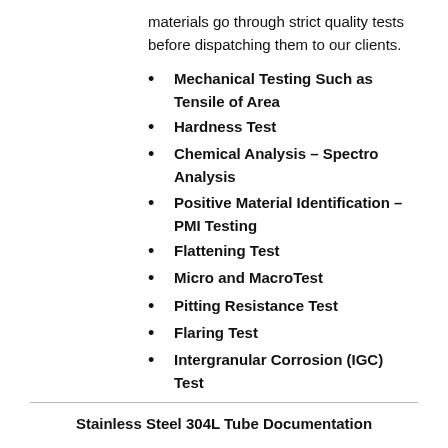materials go through strict quality tests before dispatching them to our clients.
Mechanical Testing Such as Tensile of Area
Hardness Test
Chemical Analysis – Spectro Analysis
Positive Material Identification – PMI Testing
Flattening Test
Micro and MacroTest
Pitting Resistance Test
Flaring Test
Intergranular Corrosion (IGC) Test
Stainless Steel 304L Tube Documentation
Commercial Invoice which includes HS Code
Packing List including net weight and gross weight, number of boxes, Marks and Numbers